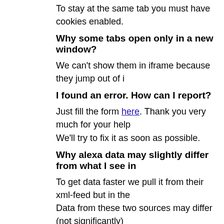To stay at the same tab you must have cookies enabled.
Why some tabs open only in a new window?
We can't show them in iframe because they jump out of i
I found an error. How can I report?
Just fill the form here. Thank you very much for your help We'll try to fix it as soon as possible.
Why alexa data may slightly differ from what I see in
To get data faster we pull it from their xml-feed but in the Data from these two sources may differ (not significantly) not synchronized.
Why data from other services may differ from what I
Some services have several datacenters to show data a